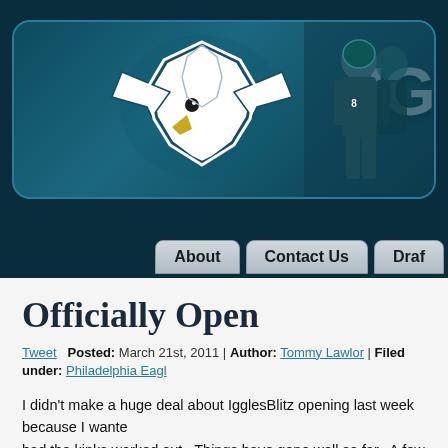[Figure (screenshot): Philadelphia Eagles / IgglesBlitz blog header banner with eagle logo on dark teal background, with football players on the right and 'IG' text visible]
About | Contact Us | Draf...
Officially Open
Tweet  Posted: March 21st, 2011 | Author: Tommy Lawlor | Filed under: Philadelphia Eagl...
I didn't make a huge deal about IgglesBlitz opening last week because I wanted had the kinks worked out.  Things have gone well so far.  A few things about th
• The content and timing of our blog posts. Eagles coverage is our thing. Th...